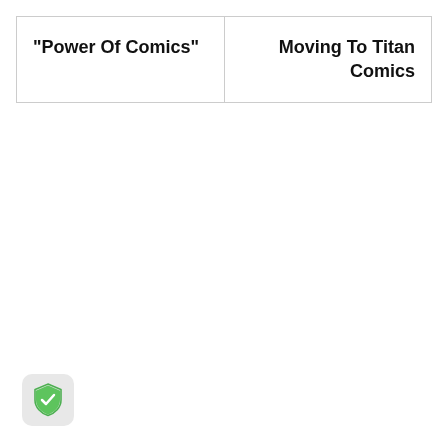| “Power Of Comics” | Moving To Titan Comics |
[Figure (illustration): Small rounded square icon with a green shield checkmark symbol, resembling a security/verified badge app icon]